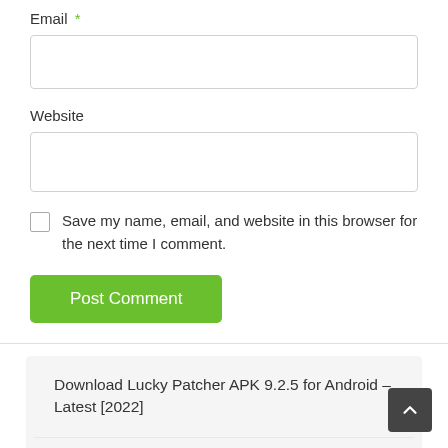Email *
Website
Save my name, email, and website in this browser for the next time I comment.
Post Comment
Download Lucky Patcher APK 9.2.5 for Android – Latest [2022]
Fouad WhatsApp 9.35 Download – Official Latest Version [Anti Ban] (2021)